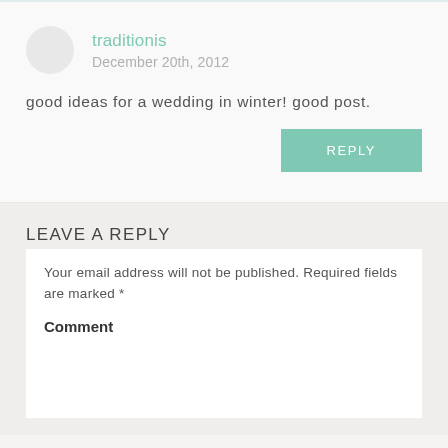traditionis
December 20th, 2012
good ideas for a wedding in winter! good post.
REPLY
LEAVE A REPLY
Your email address will not be published. Required fields are marked *
Comment